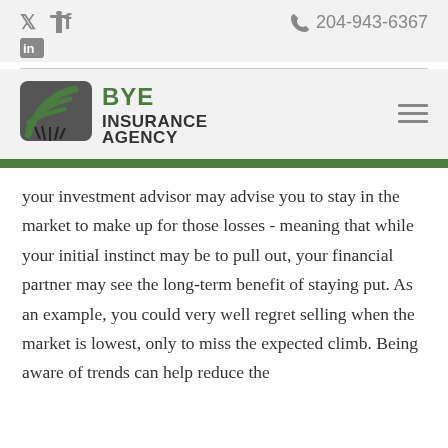Social icons: Twitter, Facebook, LinkedIn | Phone: 204-943-6367
[Figure (logo): Bye Insurance Agency logo with green swoosh graphic and dark text]
your investment advisor may advise you to stay in the market to make up for those losses - meaning that while your initial instinct may be to pull out, your financial partner may see the long-term benefit of staying put. As an example, you could very well regret selling when the market is lowest, only to miss the expected climb. Being aware of trends can help reduce the